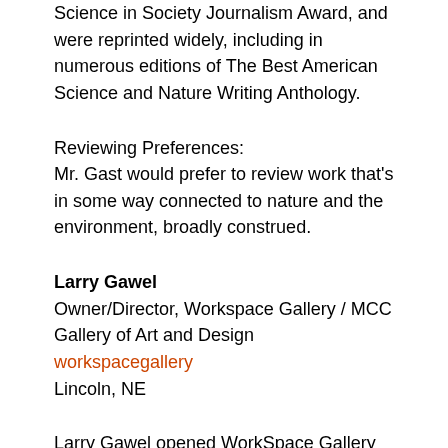Science in Society Journalism Award, and were reprinted widely, including in numerous editions of The Best American Science and Nature Writing Anthology.
Reviewing Preferences:
Mr. Gast would prefer to review work that's in some way connected to nature and the environment, broadly construed.
Larry Gawel
Owner/Director, Workspace Gallery / MCC Gallery of Art and Design
workspacegallery
Lincoln, NE
Larry Gawel opened WorkSpace Gallery in Lincoln, Nebraska, in 2008. WorkSpace Gallery presents six solo